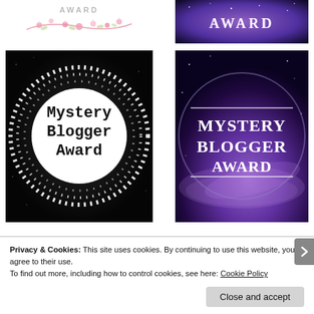[Figure (illustration): Floral award badge with pink flowers and text AWARD at top left]
[Figure (illustration): Galaxy/space themed AWARD text badge at top right with purple cosmic background]
[Figure (illustration): Mystery Blogger Award badge: black background with white dotted circle border and white circle containing serif typewriter text 'Mystery Blogger Award']
[Figure (illustration): Mystery Blogger Award badge: purple galaxy background with circular shape and text MYSTERY BLOGGER AWARD in white caps with horizontal lines above and below]
Privacy & Cookies: This site uses cookies. By continuing to use this website, you agree to their use.
To find out more, including how to control cookies, see here: Cookie Policy
Close and accept